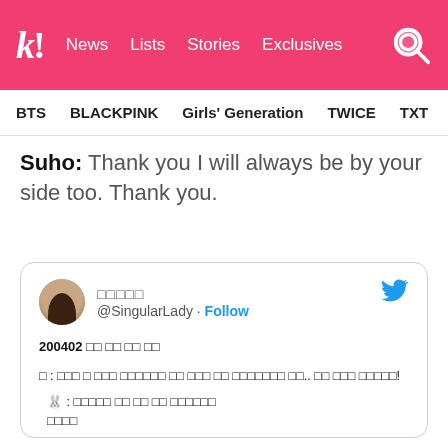k! News  Lists  Stories  Exclusives
BTS  BLACKPINK  Girls' Generation  TWICE  TXT  SEVE
Suho: Thank you I will always be by your side too. Thank you.
[Figure (screenshot): Embedded tweet from @SingularLady with Korean text about Suho dated 200402, showing rabbit emoji and Korean conversation text]